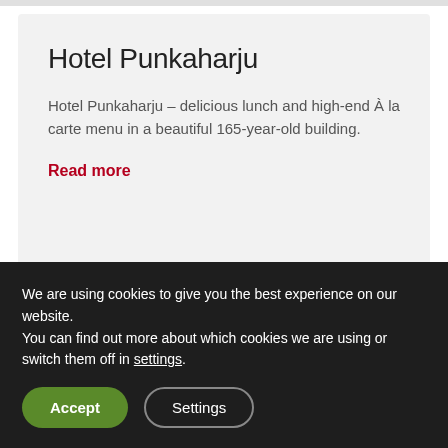Hotel Punkaharju
Hotel Punkaharju – delicious lunch and high-end À la carte menu in a beautiful 165-year-old building.
Read more
Kaks ruusua
Originally a lunch canteen for Walter
We are using cookies to give you the best experience on our website.
You can find out more about which cookies we are using or switch them off in settings.
Accept
Settings